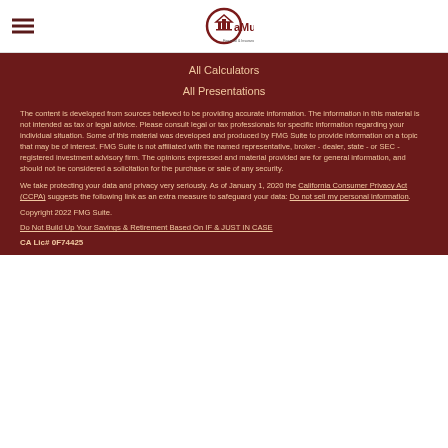CaMu Financial & Insurance Services, Inc.
All Calculators
All Presentations
The content is developed from sources believed to be providing accurate information. The information in this material is not intended as tax or legal advice. Please consult legal or tax professionals for specific information regarding your individual situation. Some of this material was developed and produced by FMG Suite to provide information on a topic that may be of interest. FMG Suite is not affiliated with the named representative, broker - dealer, state - or SEC - registered investment advisory firm. The opinions expressed and material provided are for general information, and should not be considered a solicitation for the purchase or sale of any security.
We take protecting your data and privacy very seriously. As of January 1, 2020 the California Consumer Privacy Act (CCPA) suggests the following link as an extra measure to safeguard your data: Do not sell my personal information.
Copyright 2022 FMG Suite.
Do Not Build Up Your Savings & Retirement Based On IF & JUST IN CASE
CA Lic# 0F74425